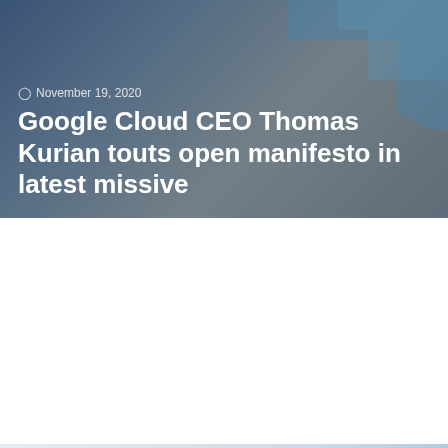[Figure (screenshot): Top news card with dark blue-grey gradient background and decorative angular shape. Date and headline text overlaid in white.]
November 19, 2020
Google Cloud CEO Thomas Kurian touts open manifesto in latest missive
CLOUD
[Figure (screenshot): Bottom news card with light blue-grey gradient background and large decorative F-shaped element in blue. CLOUD badge in yellow top-left. Scroll-to-top button in yellow bottom-right.]
November 11, 2020
AWS launches Gateway Load Balancer for highly available and scalable network appliances